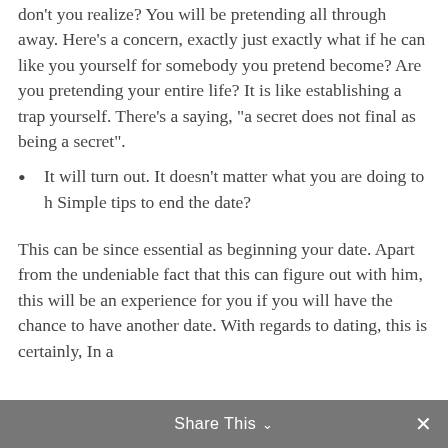don't you realize? You will be pretending all through away. Here's a concern, exactly just exactly what if he can like you yourself for somebody you pretend become? Are you pretending your entire life? It is like establishing a trap yourself. There's a saying, “a secret does not final as being a secret”.
It will turn out. It doesn’t matter what you are doing to h Simple tips to end the date?
This can be since essential as beginning your date. Apart from the undeniable fact that this can figure out with him, this will be an experience for you if you will have the chance to have another date. With regards to dating, this is certainly, In a
Share This